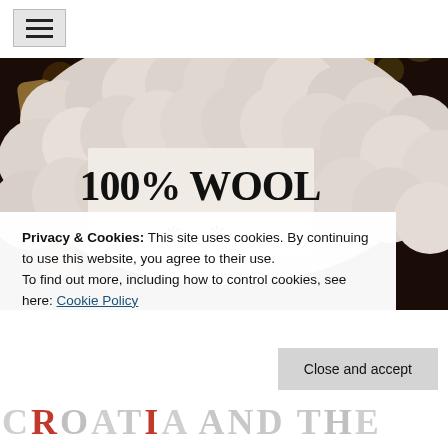[Figure (photo): Close-up photograph of a sheep with thick woolly fleece and visible horns against a dark background, with a white label showing '100% WOOL' text and decorative sheep paw prints.]
Privacy & Cookies: This site uses cookies. By continuing to use this website, you agree to their use.
To find out more, including how to control cookies, see here: Cookie Policy
Close and accept
CROATIA AND THE